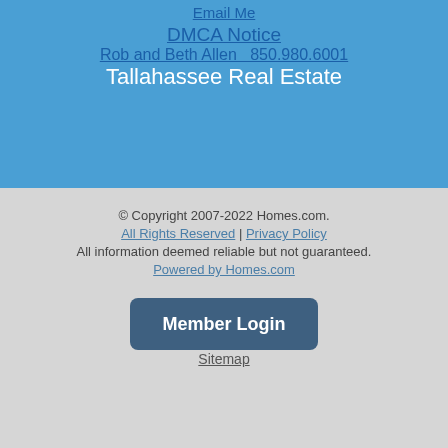Email Me
DMCA Notice
Rob and Beth Allen  850.980.6001
Tallahassee Real Estate
© Copyright 2007-2022 Homes.com.
All Rights Reserved | Privacy Policy
All information deemed reliable but not guaranteed.
Powered by Homes.com
Member Login
Sitemap